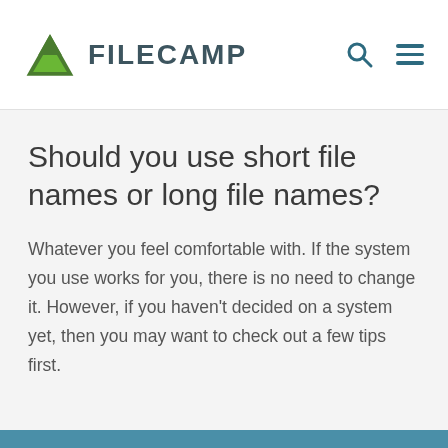FILECAMP
Should you use short file names or long file names?
Whatever you feel comfortable with. If the system you use works for you, there is no need to change it. However, if you haven't decided on a system yet, then you may want to check out a few tips first.